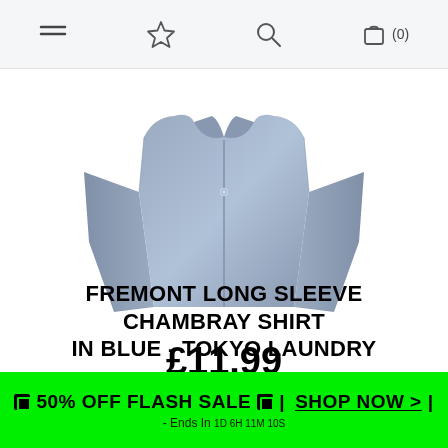Navigation bar with menu, bookmark, search, and cart (0) icons
[Figure (photo): A blue chambray long sleeve shirt displayed against a white background, showing the front of the shirt with collar and buttoned placket.]
FREMONT LONG SLEEVE CHAMBRAY SHIRT IN BLUE - TOKYO LAUNDRY
£11.99
Colour: Blue
🏷 50% OFF FLASH SALE 🏷 | SHOP NOW > | - Ends In 1D 6H 11M 10S